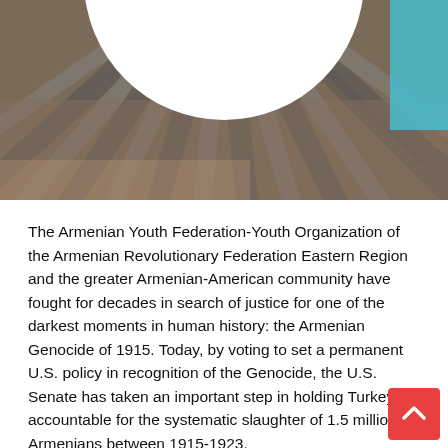[Figure (photo): Aerial or top-down view of a circular/radial pattern (possibly a monument or architectural structure with radiating stripes), with a white circular void in the center. A teal/turquoise garment or object is visible at the top right corner.]
The Armenian Youth Federation-Youth Organization of the Armenian Revolutionary Federation Eastern Region and the greater Armenian-American community have fought for decades in search of justice for one of the darkest moments in human history: the Armenian Genocide of 1915. Today, by voting to set a permanent U.S. policy in recognition of the Genocide, the U.S. Senate has taken an important step in holding Turkey accountable for the systematic slaughter of 1.5 million Armenians between 1915-1923.
An end has been put to Turkey’s gag rule by properly recognizing the atrocities of the Ottoman Empire. After nearly 105 years of denial and mockery, Turkey is facing justice. With this policy, the United States refuses to kowtow to Turkey’s manipulation and deceit. No longer can Turkey wrongfully use its geopolitical